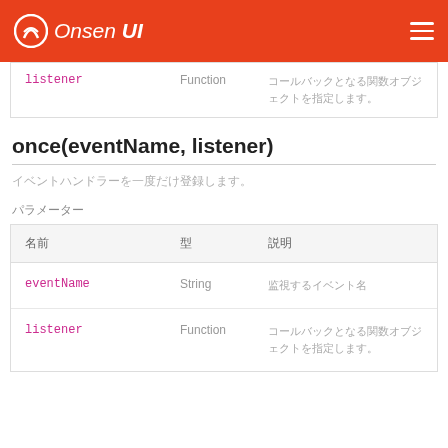Onsen UI
| 名前 | 型 | 説明 |
| --- | --- | --- |
| listener | Function | コールバックとなる関数オブジェクトを指定します。 |
once(eventName, listener)
イベントハンドラを一度だけ登録します。
パラメーター
| 名前 | 型 | 説明 |
| --- | --- | --- |
| eventName | String | 監視するイベント名 |
| listener | Function | コールバックとなる関数オブジェクトを指定します。 |